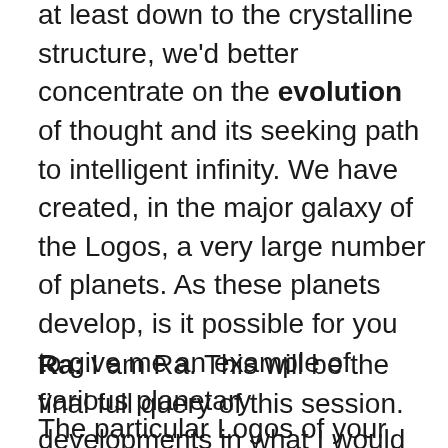at least down to the crystalline structure, we'd better concentrate on the evolution of thought and its seeking path to intelligent infinity. We have created, in the major galaxy of the Logos, a very large number of planets. As these planets develop, is it possible for you to give me an example of various planetary developments in what I would call a metaphysical sense having to do with the development of consciousness and its polarities throughout the galaxy? In other words I believe that some of these planets develop quite rapidly into higher density planets and some take longer times. Can you give me some idea of that development?
Ra: I am Ra. This will be the final full query of this session.
The particular Logos of your major galaxy has used a large portion of Its coalesced material to reflect the beingness of the Creator. In this way there is